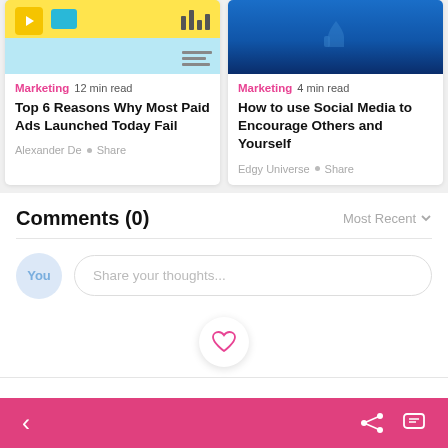[Figure (screenshot): Left card thumbnail: illustration with yellow background, play button icon, camera icon, bar chart icons, and light blue lower area]
Marketing  12 min read
Top 6 Reasons Why Most Paid Ads Launched Today Fail
Alexander De  •  Share
[Figure (photo): Right card thumbnail: man in blue shirt revealing blue superhero costume with thumbs-up like icon on chest]
Marketing  4 min read
How to use Social Media to Encourage Others and Yourself
Edgy Universe  •  Share
Comments (0)
Most Recent
Share your thoughts...
[Figure (illustration): Heart/like icon in pink outline at center bottom area above the bottom navigation bar]
< navigation back  share  comment icons